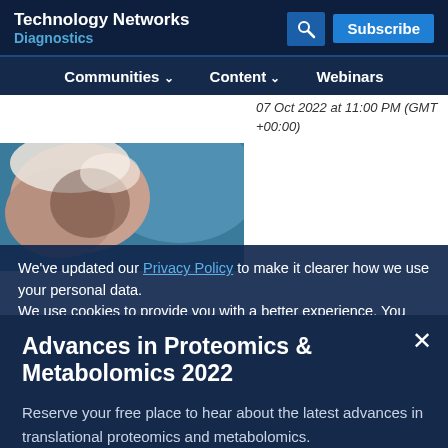Technology Networks
Diagnostics
Communities   Content   Webinars
07 Oct 2022 at 11:00 PM (GMT +00:00)
[Figure (photo): Scientist with white hair examining something, partial view]
We've updated our Privacy Policy to make it clearer how we use your personal data.
We use cookies to provide you with a better experience. You
Advances in Proteomics & Metabolomics 2022
Reserve your free place to hear about the latest advances in translational proteomics and metabolomics.